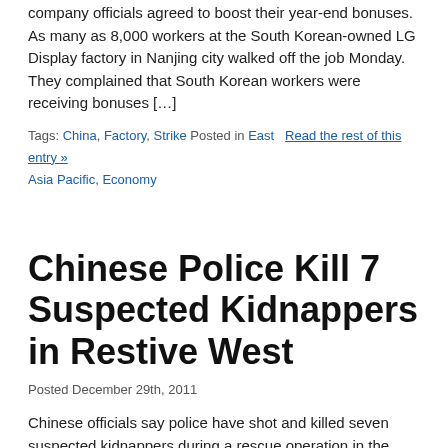company officials agreed to boost their year-end bonuses. As many as 8,000 workers at the South Korean-owned LG Display factory in Nanjing city walked off the job Monday. They complained that South Korean workers were receiving bonuses [...]
Tags: China, Factory, Strike Posted in East   Read the rest of this entry »
Asia Pacific, Economy
Chinese Police Kill 7 Suspected Kidnappers in Restive West
Posted December 29th, 2011
Chinese officials say police have shot and killed seven suspected kidnappers during a rescue operation in the country's troubled western region of Xinjiang. Police opened fire on the suspects after encountering resistance while trying to free two hostages who officials say had been kidnapped by